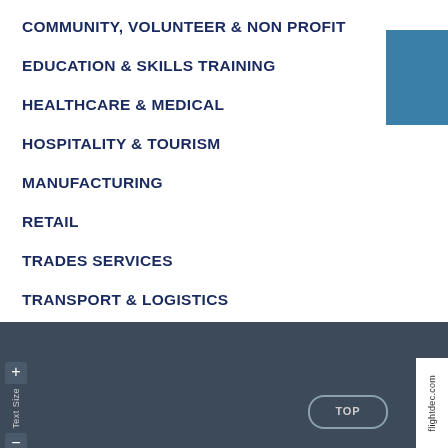COMMUNITY, VOLUNTEER & NON PROFIT
EDUCATION & SKILLS TRAINING
HEALTHCARE & MEDICAL
HOSPITALITY & TOURISM
MANUFACTURING
RETAIL
TRADES SERVICES
TRANSPORT & LOGISTICS
© Active Business Support Services. All Rights Reserved